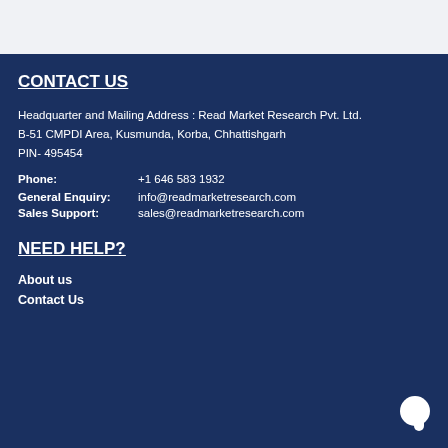CONTACT US
Headquarter and Mailing Address : Read Market Research Pvt. Ltd.
B-51 CMPDI Area, Kusmunda, Korba, Chhattishgarh
PIN- 495454
Phone: +1 646 583 1932
General Enquiry: info@readmarketresearch.com
Sales Support: sales@readmarketresearch.com
NEED HELP?
About us
Contact Us